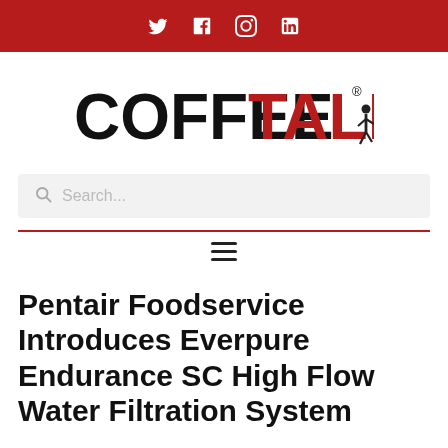[Figure (other): Dark red top bar with social media icons: Twitter, Facebook, Instagram, LinkedIn in white]
[Figure (logo): CoffeeTalk logo — COFFEE in black bold, TALK in red bold, with a small running figure illustration and registered trademark symbol]
Search...
Pentair Foodservice Introduces Everpure Endurance SC High Flow Water Filtration System